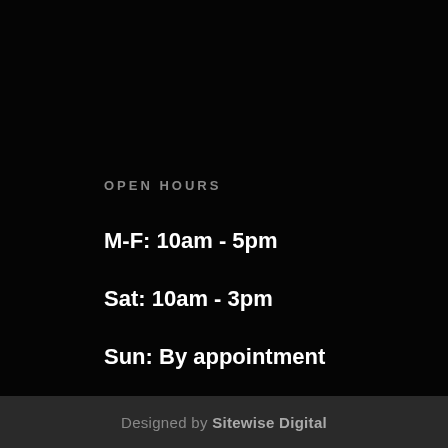OPEN HOURS
M-F: 10am - 5pm
Sat: 10am - 3pm
Sun: By appointment
Designed by Sitewise Digital